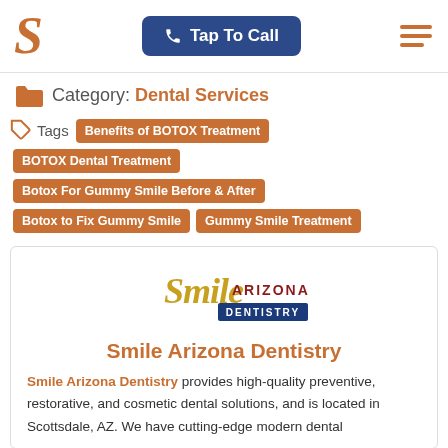S  [Tap To Call button]  [hamburger menu]
Category: Dental Services
Tags: Benefits of BOTOX Treatment | BOTOX Dental Treatment | Botox For Gummy Smile Before & After | Botox to Fix Gummy Smile | Gummy Smile Treatment
[Figure (logo): Smile Arizona Dentistry logo with cursive 'Smile' in gold, 'ARIZONA' in dark red, and 'DENTISTRY' on a blue banner]
Smile Arizona Dentistry
Smile Arizona Dentistry provides high-quality preventive, restorative, and cosmetic dental solutions, and is located in Scottsdale, AZ. We have cutting-edge modern dental